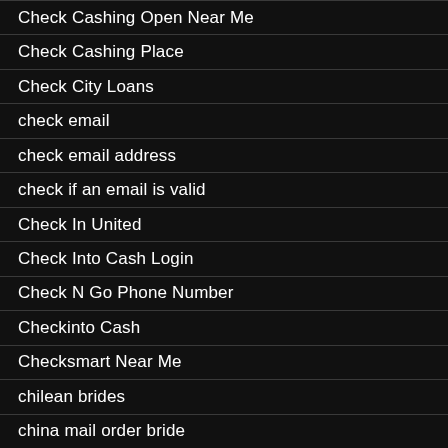Check Cashing Open Near Me
Check Cashing Place
Check City Loans
check email
check email address
check if an email is valid
Check In United
Check Into Cash Login
Check N Go Phone Number
Checkinto Cash
Checksmart Near Me
chilean brides
china mail order bride